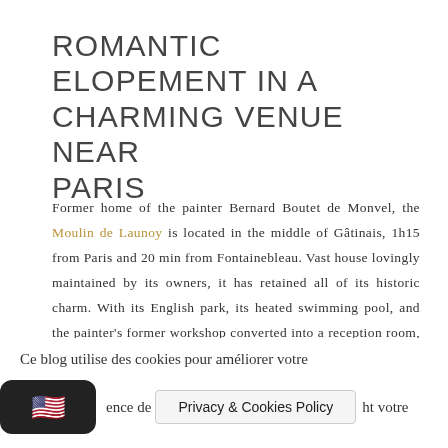ROMANTIC ELOPEMENT IN A CHARMING VENUE NEAR PARIS
Former home of the painter Bernard Boutet de Monvel, the Moulin de Launoy is located in the middle of Gâtinais, 1h15 from Paris and 20 min from Fontainebleau. Vast house lovingly maintained by its owners, it has retained all of its historic charm. With its English park, its heated swimming pool, and the painter's former workshop converted into a reception room, the Moulin is has all the comforts and
Ce blog utilise des cookies pour améliorer votre
ence de
Privacy & Cookies Policy
ht votre